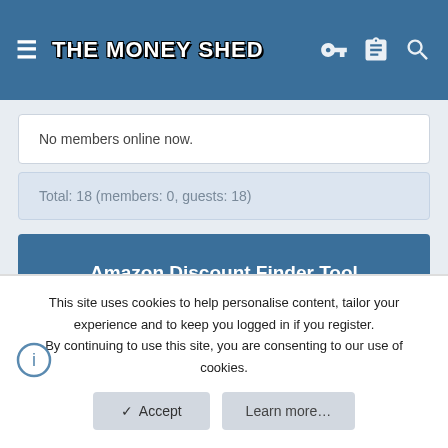THE MONEY SHED
No members online now.
Total: 18 (members: 0, guests: 18)
Amazon Discount Finder Tool
Find hidden 80%+ savings on Amazon products
Amazon Store   Department
This site uses cookies to help personalise content, tailor your experience and to keep you logged in if you register.
By continuing to use this site, you are consenting to our use of cookies.
✓ Accept
Learn more…